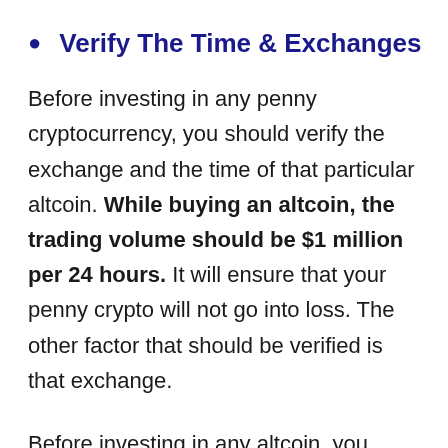Verify The Time & Exchanges
Before investing in any penny cryptocurrency, you should verify the exchange and the time of that particular altcoin. While buying an altcoin, the trading volume should be $1 million per 24 hours. It will ensure that your penny crypto will not go into loss. The other factor that should be verified is that exchange.
Before investing in any altcoin, you should